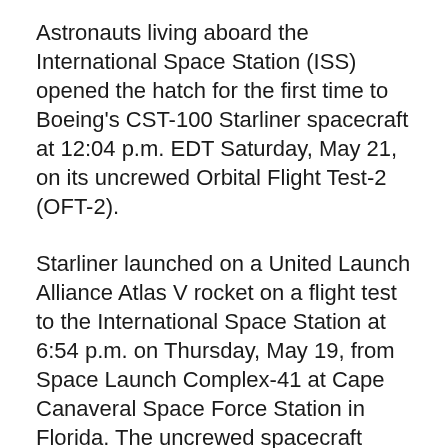Astronauts living aboard the International Space Station (ISS) opened the hatch for the first time to Boeing's CST-100 Starliner spacecraft at 12:04 p.m. EDT Saturday, May 21, on its uncrewed Orbital Flight Test-2 (OFT-2).
Starliner launched on a United Launch Alliance Atlas V rocket on a flight test to the International Space Station at 6:54 p.m. on Thursday, May 19, from Space Launch Complex-41 at Cape Canaveral Space Force Station in Florida. The uncrewed spacecraft successfully docked to the space station's Harmony module at 8:28 p.m. EDT Friday, May 20.